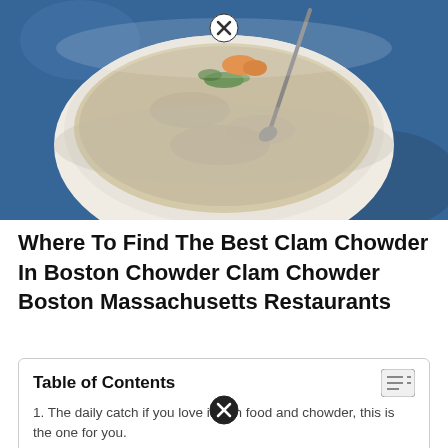[Figure (photo): A bowl of clam chowder soup with a spoon, garnished with herbs and vegetables, on a blue textured surface]
Where To Find The Best Clam Chowder In Boston Chowder Clam Chowder Boston Massachusetts Restaurants
| Table of Contents |
| --- |
| 1. The daily catch if you love italian food and chowder, this is the one for you. |
The daily catch if you love italian food and chowder, this is the one for you.